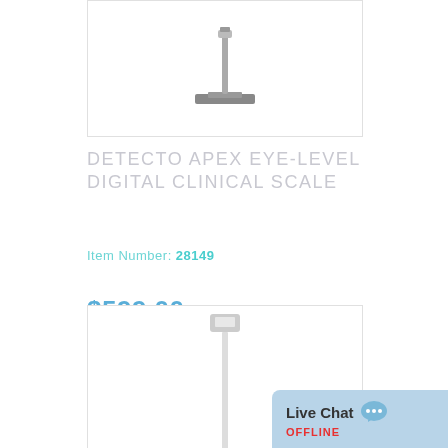[Figure (photo): Product photo of Detecto Apex Eye-Level Digital Clinical Scale, showing the base unit with a vertical pole, white background]
DETECTO APEX EYE-LEVEL DIGITAL CLINICAL SCALE
Item Number: 28149
$599.00
ADD TO CART
[Figure (photo): Product photo of another clinical scale, white pole, partially visible]
Live Chat OFFLINE